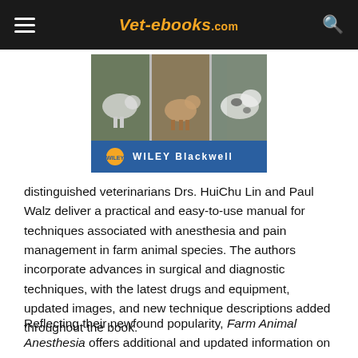Vet-ebooks.com
[Figure (photo): Book cover image showing farm animals (sheep, calf, cow) with a blue Wiley Blackwell publisher band at the bottom]
distinguished veterinarians Drs. HuiChu Lin and Paul Walz deliver a practical and easy-to-use manual for techniques associated with anesthesia and pain management in farm animal species. The authors incorporate advances in surgical and diagnostic techniques, with the latest drugs and equipment, updated images, and new technique descriptions added throughout the book.
Reflecting their newfound popularity, Farm Animal Anesthesia offers additional and updated information on drug